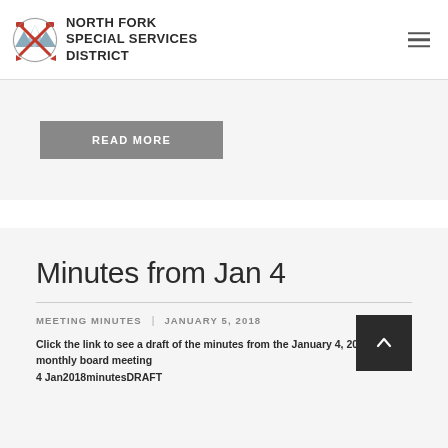NORTH FORK SPECIAL SERVICES DISTRICT
READ MORE
Minutes from Jan 4
MEETING MINUTES  |  JANUARY 5, 2018
Click the link to see a draft of the minutes from the January 4, 2018 monthly board meeting 4 Jan2018minutesDRAFT